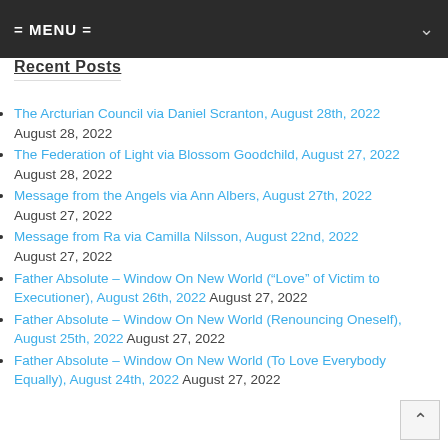= MENU =
Recent Posts
The Arcturian Council via Daniel Scranton, August 28th, 2022 August 28, 2022
The Federation of Light via Blossom Goodchild, August 27, 2022 August 28, 2022
Message from the Angels via Ann Albers, August 27th, 2022 August 27, 2022
Message from Ra via Camilla Nilsson, August 22nd, 2022 August 27, 2022
Father Absolute – Window On New World (“Love” of Victim to Executioner), August 26th, 2022 August 27, 2022
Father Absolute – Window On New World (Renouncing Oneself), August 25th, 2022 August 27, 2022
Father Absolute – Window On New World (To Love Everybody Equally), August 24th, 2022 August 27, 2022